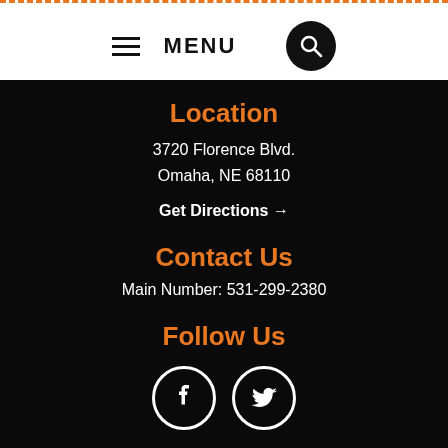MENU
Location
3720 Florence Blvd.
Omaha, NE 68110
Get Directions →
Contact Us
Main Number: 531-299-2380
Follow Us
[Figure (illustration): Facebook and Twitter social media icons in white circles]